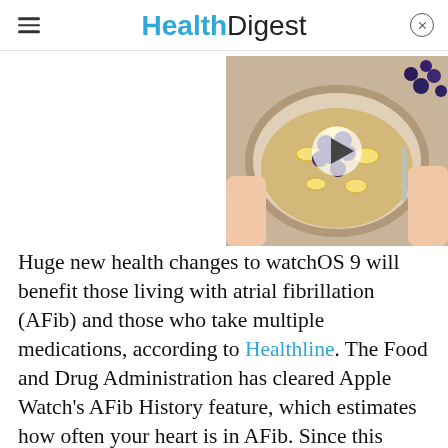HealthDigest
[Figure (photo): Overhead photo of a bowl of oatmeal topped with blueberries and banana slices, held by two hands, with a play button overlay indicating a video thumbnail.]
Huge new health changes to watchOS 9 will benefit those living with atrial fibrillation (AFib) and those who take multiple medications, according to Healthline. The Food and Drug Administration has cleared Apple Watch's AFib History feature, which estimates how often your heart is in AFib. Since this irregular heart rhythm is one of the leading causes of stroke, this new feature will be